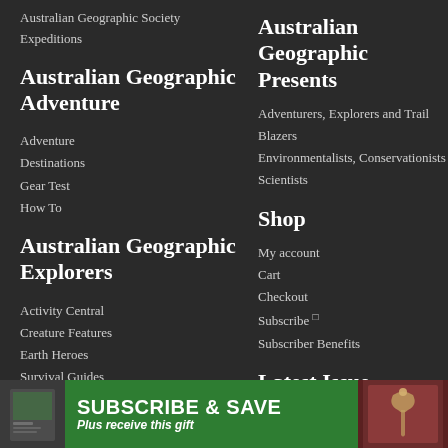Australian Geographic Society Expeditions
Australian Geographic Adventure
Adventure
Destinations
Gear Test
How To
Australian Geographic Explorers
Activity Central
Creature Features
Earth Heroes
Survival Guides
News
Com
Australian Geographic Presents
Adventurers, Explorers and Trail Blazers
Environmentalists, Conservationists and Scientists
Shop
My account
Cart
Checkout
Subscribe
Subscriber Benefits
Latest Issue
About Us
[Figure (infographic): Green promotional banner reading SUBSCRIBE & SAVE Plus receive this gift, with a magazine cover image on the left and a decorative image on the right]